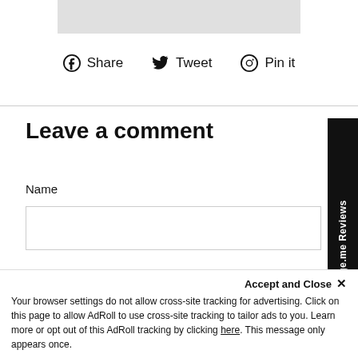[Figure (photo): Gray image placeholder at top of page]
Share  Tweet  Pin it
Leave a comment
Name
Email
Accept and Close ×
Your browser settings do not allow cross-site tracking for advertising. Click on this page to allow AdRoll to use cross-site tracking to tailor ads to you. Learn more or opt out of this AdRoll tracking by clicking here. This message only appears once.